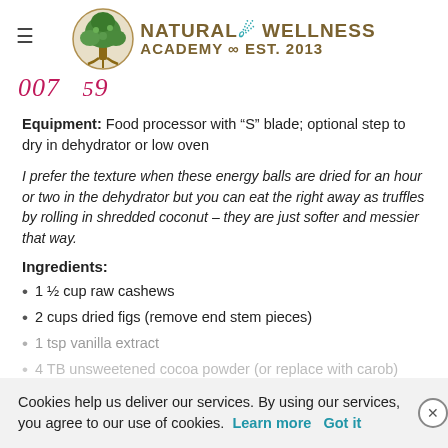Natural Wellness Academy Est. 2013
Equipment: Food processor with “S” blade; optional step to dry in dehydrator or low oven
I prefer the texture when these energy balls are dried for an hour or two in the dehydrator but you can eat the right away as truffles by rolling in shredded coconut – they are just softer and messier that way.
Ingredients:
1 ½ cup raw cashews
2 cups dried figs (remove end stem pieces)
1 tsp vanilla extract
4 TB unsweetened cocoa powder (or replace with carob)
Cookies help us deliver our services. By using our services, you agree to our use of cookies. Learn more Got it